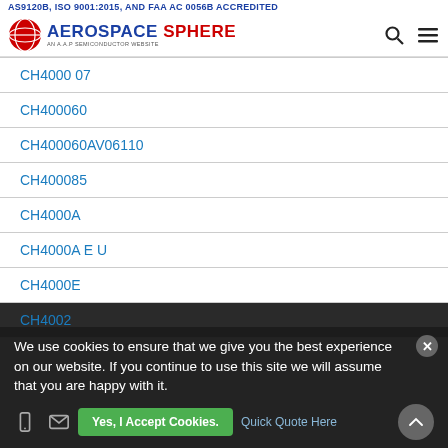AS9120B, ISO 9001:2015, AND FAA AC 0056B ACCREDITED
[Figure (logo): Aerospace Sphere logo - red globe icon with AEROSPACE SPHERE text in blue, AN A.A.P SEMICONDUCTOR WEBSITE subtitle]
CH4000 07
CH400060
CH400060AV06110
CH400085
CH4000A
CH4000A E U
CH4000E
CH4002
We use cookies to ensure that we give you the best experience on our website. If you continue to use this site we will assume that you are happy with it.